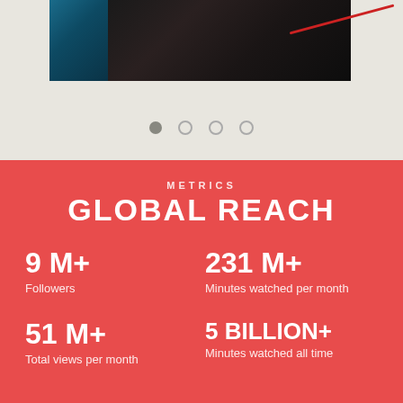[Figure (photo): Partial image showing what appears to be a dark scene with a teal/blue object on the left and dark background with a red wire or cable visible]
[Figure (infographic): Four navigation dots, one filled gray and three empty circles]
METRICS
GLOBAL REACH
9 M+
Followers
231 M+
Minutes watched per month
51 M+
Total views per month
5 BILLION+
Minutes watched all time